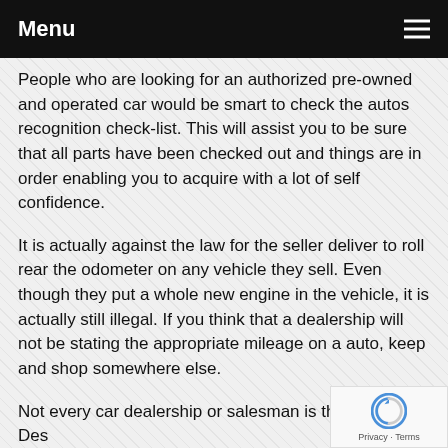Menu
People who are looking for an authorized pre-owned and operated car would be smart to check the autos recognition check-list. This will assist you to be sure that all parts have been checked out and things are in order enabling you to acquire with a lot of self confidence.
It is actually against the law for the seller deliver to roll rear the odometer on any vehicle they sell. Even though they put a whole new engine in the vehicle, it is actually still illegal. If you think that a dealership will not be stating the appropriate mileage on a auto, keep and shop somewhere else.
Not every car dealership or salesman is the same. Despite the fact that car merchants have a history of pushy salesmanship,